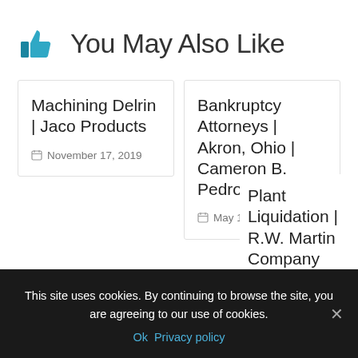You May Also Like
Machining Delrin | Jaco Products
November 17, 2019
Bankruptcy Attorneys | Akron, Ohio | Cameron B. Pedro
May 16, 2016
Plant Liquidation | R.W. Martin Company
January 24,
This site uses cookies. By continuing to browse the site, you are agreeing to our use of cookies.
Ok  Privacy policy